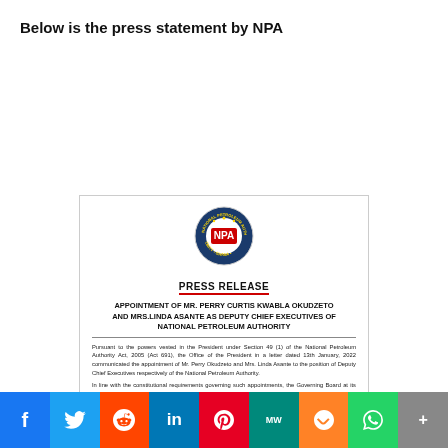Below is the press statement by NPA
[Figure (illustration): NPA Press Release document showing logo, PRESS RELEASE heading, appointment announcement of Mr. Perry Curtis Kwabla Okudzeto and Mrs. Linda Asante as Deputy Chief Executives of National Petroleum Authority, with body text about the appointment.]
f  Twitter  Reddit  in  Pinterest  MW  Mix  WhatsApp  More